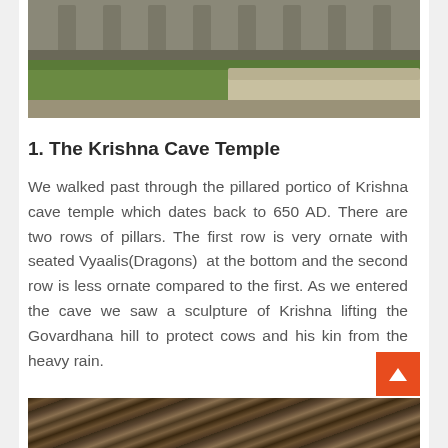[Figure (photo): Exterior view of Krishna cave temple showing pillared portico with green lawn in front and stone architecture]
1. The Krishna Cave Temple
We walked past through the pillared portico of Krishna cave temple which dates back to 650 AD. There are two rows of pillars. The first row is very ornate with seated Vyaalis(Dragons)  at the bottom and the second row is less ornate compared to the first. As we entered the cave we saw a sculpture of Krishna lifting the Govardhana hill to protect cows and his kin from the heavy rain.
[Figure (photo): Close-up photo showing striped patterns, appears to be animal fur or rock texture with golden-brown tones]